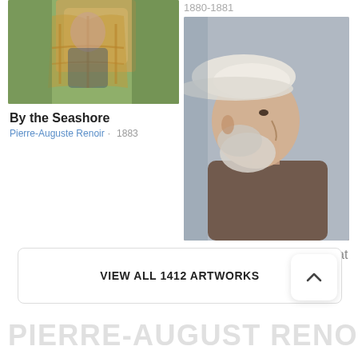[Figure (photo): Painting thumbnail - By the Seashore by Renoir, showing a cropped view of a woman in a wicker chair]
By the Seashore
Pierre-Auguste Renoir · 1883
1880-1881
[Figure (photo): Painting - Self-Portrait with a White Hat by Renoir, showing an elderly bearded man in profile wearing a white hat]
Self-Portrait with a White Hat
Pierre-Auguste Renoir · 1910
VIEW ALL 1412 ARTWORKS
PIERRE-AUGUSTE RENOIR